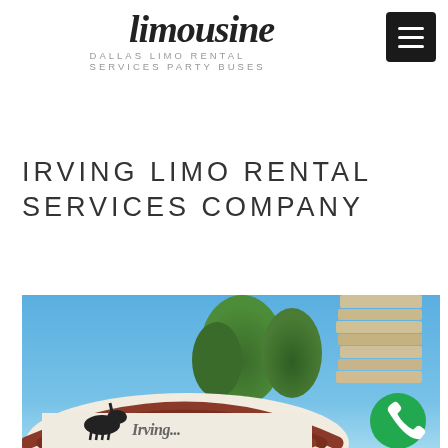limousine — DALLAS LIMO RENTAL SERVICES PARTY BUSES
IRVING LIMO RENTAL SERVICES COMPANY
[Figure (photo): Outdoor photo showing a curved architectural entrance structure with stacked stone tower, trees in background against blue sky, with a horse logo visible on the arch sign]